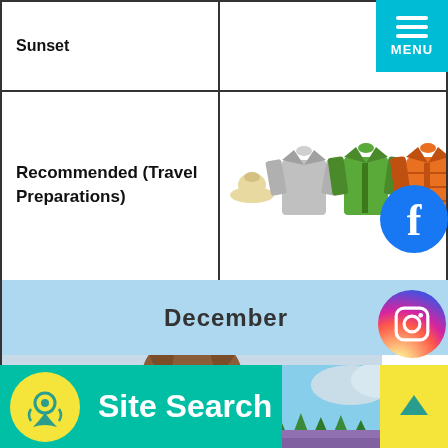Sunset
Recommended (Travel Preparations)
[Figure (illustration): Clothing icons: hat, sweater, green jacket, orange puffer jacket, blue jacket, jeans]
December
[Figure (photo): Close-up photo of a red squirrel with snow on its nose and ears against a pale blue winter sky background]
[Figure (screenshot): Bottom navigation bar with location icon, Site Search text, landscape thumbnail photo, and up arrow button]